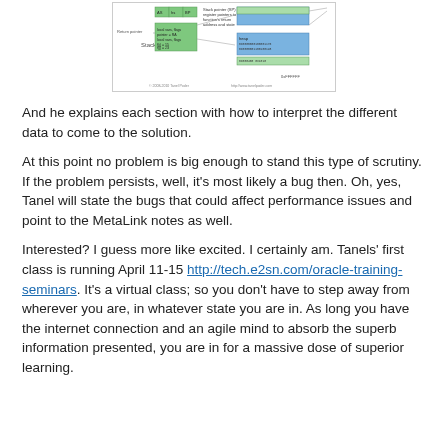[Figure (schematic): Stack memory diagram showing stack pointer registers, function call addresses, return pointer, local variables, and memory layout with green and blue colored regions. © 2008-2010 Tanel Poder, http://www.tanelpoder.com]
And he explains each section with how to interpret the different data to come to the solution.
At this point no problem is big enough to stand this type of scrutiny. If the problem persists, well, it's most likely a bug then. Oh, yes, Tanel will state the bugs that could affect performance issues and point to the MetaLink notes as well.
Interested? I guess more like excited. I certainly am. Tanels' first class is running April 11-15 http://tech.e2sn.com/oracle-training-seminars. It's a virtual class; so you don't have to step away from wherever you are, in whatever state you are in. As long you have the internet connection and an agile mind to absorb the superb information presented, you are in for a massive dose of superior learning.